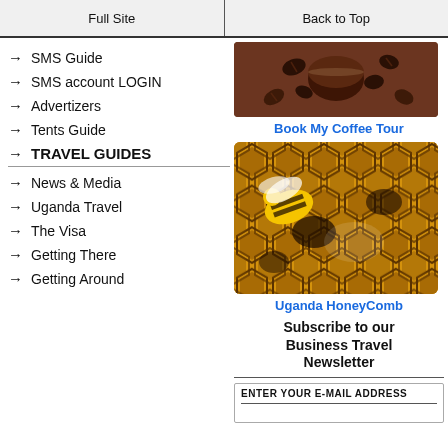Full Site | Back to Top
→ SMS Guide
→ SMS account LOGIN
→ Advertizers
→ Tents Guide
→ TRAVEL GUIDES
→ News & Media
→ Uganda Travel
→ The Visa
→ Getting There
→ Getting Around
[Figure (photo): Close-up photo of coffee beans in a bowl on burlap]
Book My Coffee Tour
[Figure (photo): Close-up photo of a bee on honeycomb with dark honey]
Uganda HoneyComb
Subscribe to our Business Travel Newsletter
ENTER YOUR E-MAIL ADDRESS